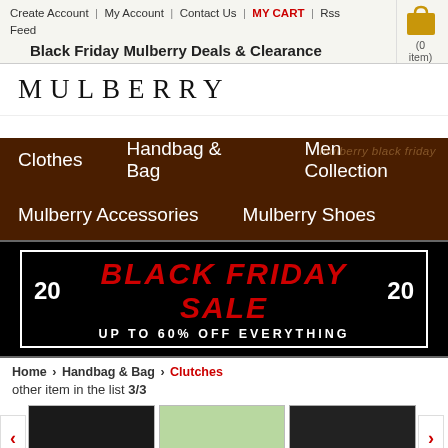Create Account | My Account | Contact Us | MY CART | Rss Feed
Black Friday Mulberry Deals & Clearance
[Figure (logo): MULBERRY brand logo text in spaced serif letters]
mulberry black friday
Clothes
Handbag & Bag
Men Collection
Mulberry Accessories
Mulberry Shoes
[Figure (infographic): Black Friday Sale banner: 2020 BLACK FRIDAY SALE UP TO 60% OFF EVERYTHING, red bold text on black background with decorative border]
Home > Handbag & Bag > Clutches
other item in the list 3/3
[Figure (photo): Three product thumbnail images: black clutch, green clutch, black clutch, with navigation arrows on sides]